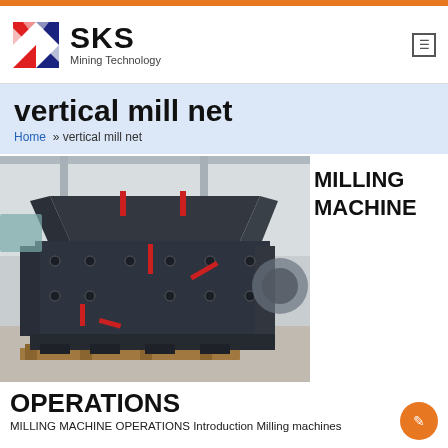SKS Mining Technology
vertical mill net
Home » vertical mill net
[Figure (photo): Large industrial milling/crushing machine (impact crusher) in dark grey/black metal, photographed in a factory/warehouse setting. The machine is heavy-duty with multiple bolted plates, red-painted accent components, and sits on wooden pallets on a concrete floor.]
MILLING MACHINE
OPERATIONS
MILLING MACHINE OPERATIONS Introduction Milling machines